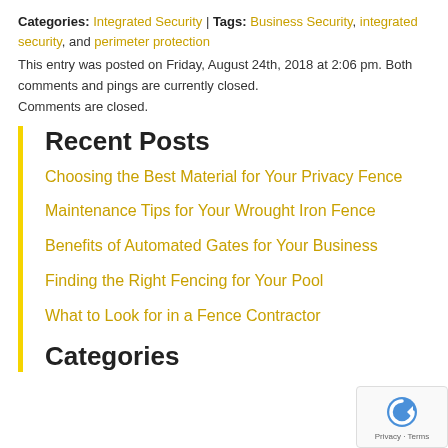Categories: Integrated Security | Tags: Business Security, integrated security, and perimeter protection
This entry was posted on Friday, August 24th, 2018 at 2:06 pm. Both comments and pings are currently closed.
Comments are closed.
Recent Posts
Choosing the Best Material for Your Privacy Fence
Maintenance Tips for Your Wrought Iron Fence
Benefits of Automated Gates for Your Business
Finding the Right Fencing for Your Pool
What to Look for in a Fence Contractor
Categories